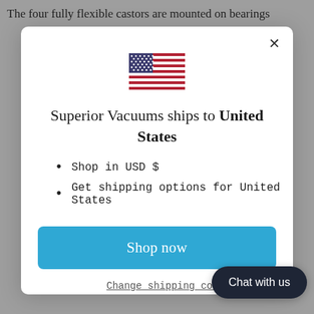The four fully flexible castors are mounted on bearings
[Figure (illustration): United States flag emoji/icon]
Superior Vacuums ships to United States
Shop in USD $
Get shipping options for United States
Shop now
Change shipping coun...
Chat with us